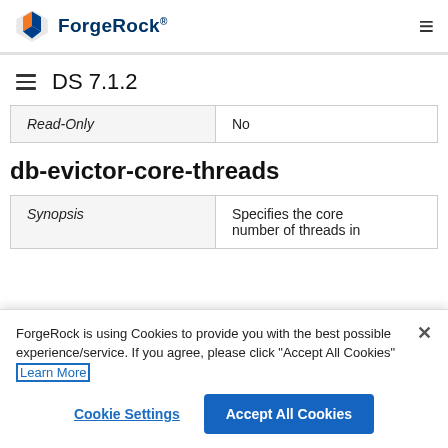ForgeRock DS 7.1.2
| Read-Only | No |
db-evictor-core-threads
| Synopsis | Specifies the core number of threads in |
ForgeRock is using Cookies to provide you with the best possible experience/service. If you agree, please click "Accept All Cookies" Learn More